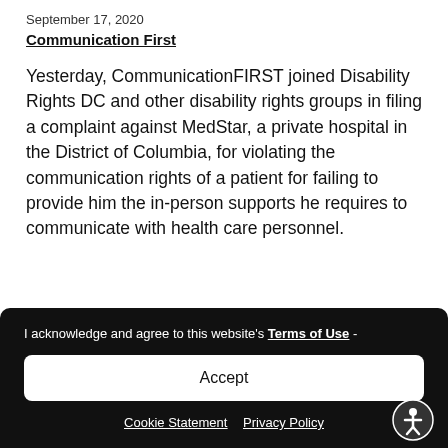September 17, 2020
Communication First
Yesterday, CommunicationFIRST joined Disability Rights DC and other disability rights groups in filing a complaint against MedStar, a private hospital in the District of Columbia, for violating the communication rights of a patient for failing to provide him the in-person supports he requires to communicate with health care personnel.
I acknowledge and agree to this website's Terms of Use -
Accept
Cookie Statement  Privacy Policy